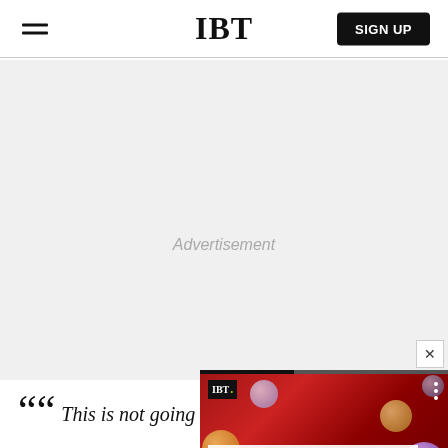IBT
[Figure (screenshot): Advertisement placeholder area with light gray background]
[Figure (screenshot): IBT video widget showing a colorful painted face resembling David Bowie on a red background with planet spheres, with title 'New SpiderGenus,Severa...' and IBT badge, close button (X) in top right corner]
““ This is not going to be the last attack